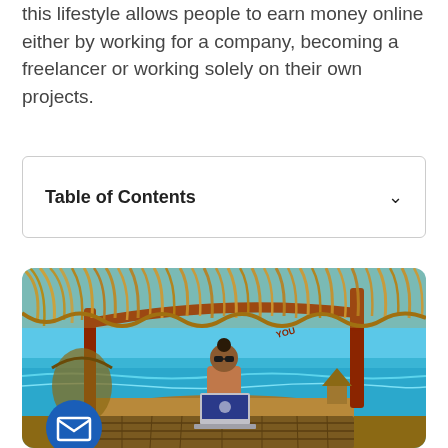this lifestyle allows people to earn money online either by working for a company, becoming a freelancer or working solely on their own projects.
| Table of Contents |
| --- |
[Figure (photo): A person sitting at a wooden tiki bar counter on a beach, working on a laptop. The scene shows a tropical beach setting with thatched palm roof overhead, turquoise ocean water in the background, and bright blue sky. A blue circular email/envelope button overlay appears in the lower left corner of the image.]